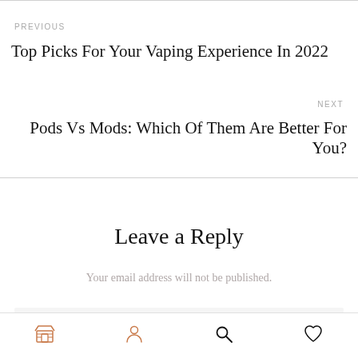PREVIOUS
Top Picks For Your Vaping Experience In 2022
NEXT
Pods Vs Mods: Which Of Them Are Better For You?
Leave a Reply
Your email address will not be published.